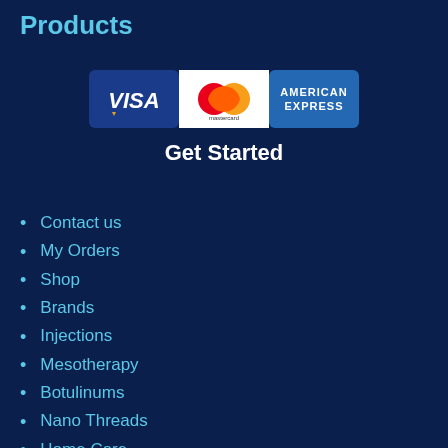Products
[Figure (logo): Three payment method logos: Visa (dark blue background), Mastercard (white background with red and orange circles), and American Express (blue background)]
Get Started
Contact us
My Orders
Shop
Brands
Injections
Mesotherapy
Botulinums
Nano Threads
Home Care
Semi-Permanent Make-up
About us
K-Beauty Blog